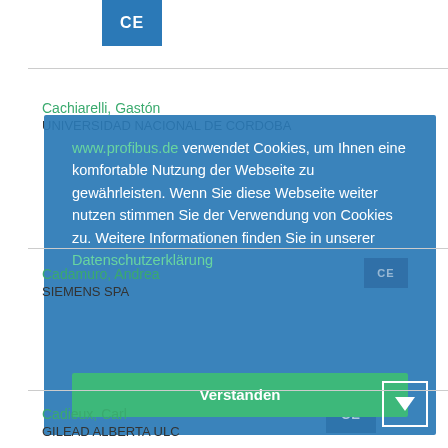[Figure (logo): CE logo blue square top center]
Cachiarelli, Gastón
UNIVERSIDAD NACIONAL DE CORDOBA
www.profibus.de verwendet Cookies, um Ihnen eine komfortable Nutzung der Webseite zu gewährleisten. Wenn Sie diese Webseite weiter nutzen stimmen Sie der Verwendung von Cookies zu. Weitere Informationen finden Sie in unserer Datenschutzerklärung
Verstanden
Cadamuro, Andrea
Siemens Spa
Cadieux, Carl
Gilead Alberta ULC